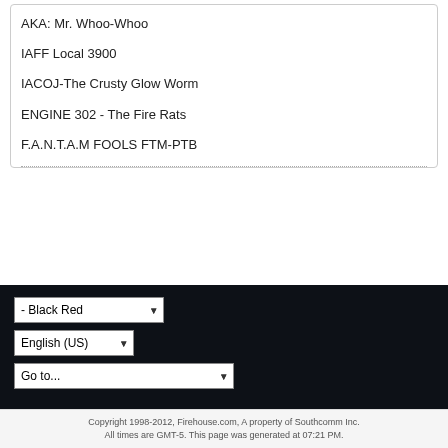AKA: Mr. Whoo-Whoo
IAFF Local 3900
IACOJ-The Crusty Glow Worm
ENGINE 302 - The Fire Rats
F.A.N.T.A.M FOOLS FTM-PTB
- Black Red (dropdown)
English (US) (dropdown)
Go to... (dropdown)
Copyright 1998-2012, Firehouse.com, A property of Southcomm Inc. All times are GMT-5. This page was generated at 07:21 PM.